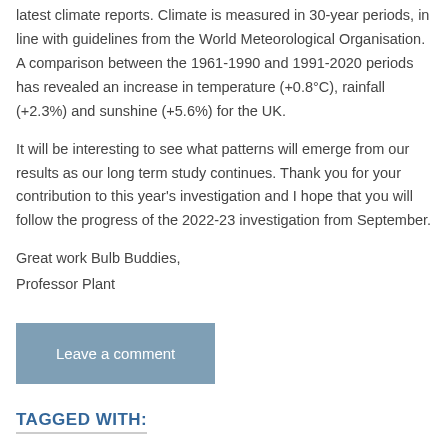latest climate reports. Climate is measured in 30-year periods, in line with guidelines from the World Meteorological Organisation. A comparison between the 1961-1990 and 1991-2020 periods has revealed an increase in temperature (+0.8°C), rainfall (+2.3%) and sunshine (+5.6%) for the UK.
It will be interesting to see what patterns will emerge from our results as our long term study continues. Thank you for your contribution to this year's investigation and I hope that you will follow the progress of the 2022-23 investigation from September.
Great work Bulb Buddies,
Professor Plant
Leave a comment
TAGGED WITH: